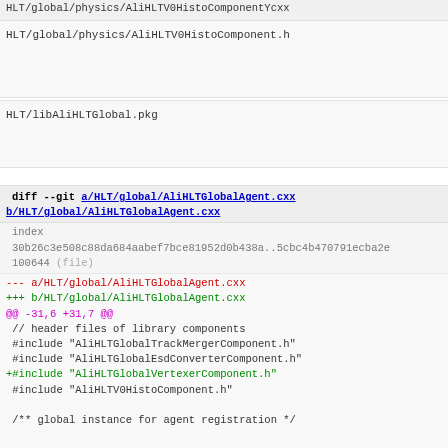HLT/global/physics/AliHLTV0HistoComponentYcxx
HLT/global/physics/AliHLTV0HistoComponent.h
HLT/libAliHLTGlobal.pkg
diff --git a/HLT/global/AliHLTGlobalAgent.cxx b/HLT/global/AliHLTGlobalAgent.cxx
index 30b26c3e508c88da684aabef7bce81952d0b438a..5cbc4b470791ecba2e
100644 (file)
--- a/HLT/global/AliHLTGlobalAgent.cxx
+++ b/HLT/global/AliHLTGlobalAgent.cxx
@@ -31,6 +31,7 @@
 // header files of library components
 #include "AliHLTGlobalTrackMergerComponent.h"
 #include "AliHLTGlobalEsdConverterComponent.h"
+#include "AliHLTGlobalVertexerComponent.h"
 #include "AliHLTV0HistoComponent.h"

 /** global instance for agent registration */